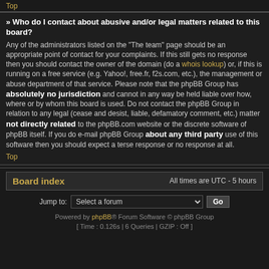Top
» Who do I contact about abusive and/or legal matters related to this board?
Any of the administrators listed on the “The team” page should be an appropriate point of contact for your complaints. If this still gets no response then you should contact the owner of the domain (do a whois lookup) or, if this is running on a free service (e.g. Yahoo!, free.fr, f2s.com, etc.), the management or abuse department of that service. Please note that the phpBB Group has absolutely no jurisdiction and cannot in any way be held liable over how, where or by whom this board is used. Do not contact the phpBB Group in relation to any legal (cease and desist, liable, defamatory comment, etc.) matter not directly related to the phpBB.com website or the discrete software of phpBB itself. If you do e-mail phpBB Group about any third party use of this software then you should expect a terse response or no response at all.
Top
Board index
All times are UTC - 5 hours
Jump to:  Select a forum   Go
Powered by phpBB® Forum Software © phpBB Group [ Time : 0.126s | 6 Queries | GZIP : Off ]